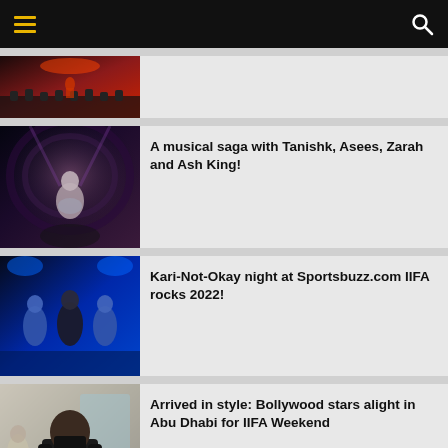Navigation menu and search
[Figure (photo): Partial view of a concert/event stage with performers, red lighting, crowd visible]
[Figure (photo): Female performer on stage in silver outfit with dramatic lighting and dark swirling background]
A musical saga with Tanishk, Asees, Zarah and Ash King!
[Figure (photo): Three performers on stage at IIFA Rocks 2022 with blue lighting, two in blue outfits]
Kari-Not-Okay night at Sportsbuzz.com IIFA rocks 2022!
[Figure (photo): Bollywood star in black jacket and mask arriving at Abu Dhabi for IIFA Weekend]
Arrived in style: Bollywood stars alight in Abu Dhabi for IIFA Weekend